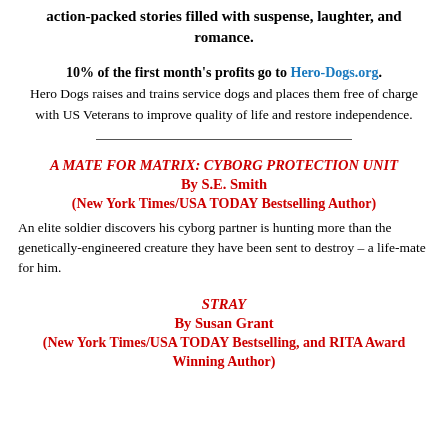action-packed stories filled with suspense, laughter, and romance.
10% of the first month's profits go to Hero-Dogs.org. Hero Dogs raises and trains service dogs and places them free of charge with US Veterans to improve quality of life and restore independence.
A MATE FOR MATRIX: CYBORG PROTECTION UNIT By S.E. Smith (New York Times/USA TODAY Bestselling Author)
An elite soldier discovers his cyborg partner is hunting more than the genetically-engineered creature they have been sent to destroy – a life-mate for him.
STRAY By Susan Grant (New York Times/USA TODAY Bestselling, and RITA Award Winning Author)